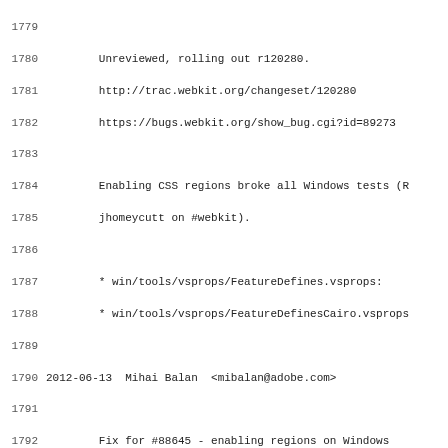1779-1811: Source code changelog/log lines showing webkit commit log entries including entries for Unreviewed rolling out r120280, CSS regions Windows fix, and entries by Mihai Balan and Alexis Menard.